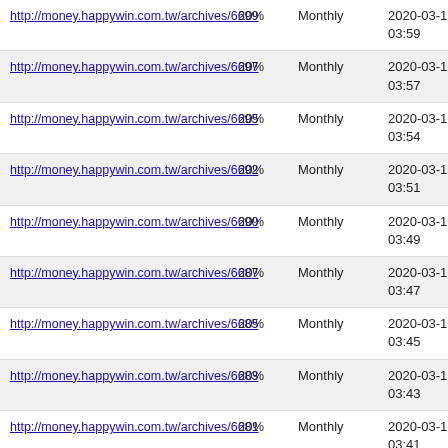| http://money.happywin.com.tw/archives/6699 | 20% | Monthly | 2020-03-16 03:59 |
| http://money.happywin.com.tw/archives/6697 | 20% | Monthly | 2020-03-16 03:57 |
| http://money.happywin.com.tw/archives/6695 | 20% | Monthly | 2020-03-16 03:54 |
| http://money.happywin.com.tw/archives/6692 | 20% | Monthly | 2020-03-16 03:51 |
| http://money.happywin.com.tw/archives/6690 | 20% | Monthly | 2020-03-16 03:49 |
| http://money.happywin.com.tw/archives/6687 | 20% | Monthly | 2020-03-16 03:47 |
| http://money.happywin.com.tw/archives/6685 | 20% | Monthly | 2020-03-16 03:45 |
| http://money.happywin.com.tw/archives/6683 | 20% | Monthly | 2020-03-16 03:43 |
| http://money.happywin.com.tw/archives/6681 | 20% | Monthly | 2020-03-16 03:41 |
| http://money.happywin.com.tw/archives/6679 | 20% | Monthly | 2020-03-16 03:39 |
| http://money.happywin.com.tw/archives/6676 | 20% | Monthly | 2020-03-16 03:37 |
| http://money.happywin.com.tw/archives/6674 | 20% | Monthly | 2020-03-16 03:35 |
| http://money.happywin.com.tw/archives/6671 | 20% | Monthly | 2020-03-16 03:33 |